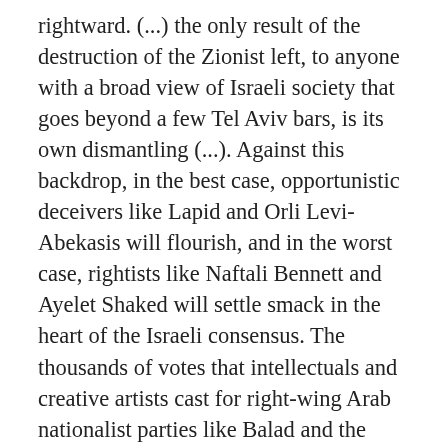rightward. (...) the only result of the destruction of the Zionist left, to anyone with a broad view of Israeli society that goes beyond a few Tel Aviv bars, is its own dismantling (...). Against this backdrop, in the best case, opportunistic deceivers like Lapid and Orli Levi-Abekasis will flourish, and in the worst case, rightists like Naftali Bennett and Ayelet Shaked will settle smack in the heart of the Israeli consensus. The thousands of votes that intellectuals and creative artists cast for right-wing Arab nationalist parties like Balad and the southern branch of the Islamic Movement don't hasten the arrival of any kind of equality, only an even more destructive right-wing government, in which MK Bezalel Smotrich will be a senior cabinet minister. (...) Even if the criticism of Zandberg and Labor chairman Avi Gabbay is